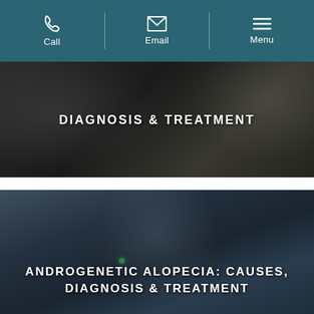Call | Email | Menu
[Figure (photo): Dark photo of a medical professional treating a patient, with overlaid text 'DIAGNOSIS & TREATMENT']
DIAGNOSIS & TREATMENT
[Figure (photo): Photo of a bearded man wearing glasses and a coat on a city street, with overlaid text 'ANDROGENETIC ALOPECIA: CAUSES, DIAGNOSIS & TREATMENT']
ANDROGENETIC ALOPECIA: CAUSES, DIAGNOSIS & TREATMENT